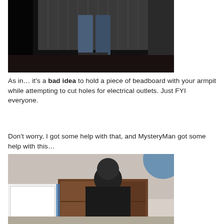[Figure (photo): Dark photo of a person standing in jeans against a wall/beadboard, lower body visible, dimly lit room]
As in… it's a bad idea to hold a piece of beadboard with your armpit while attempting to cut holes for electrical outlets. Just FYI everyone.
Don't worry, I got some help with that, and MysteryMan got some help with this…
[Figure (photo): Photo of a person with dark hair seen from behind, working on wooden cabinetry/beadboard installation in a room with white walls]